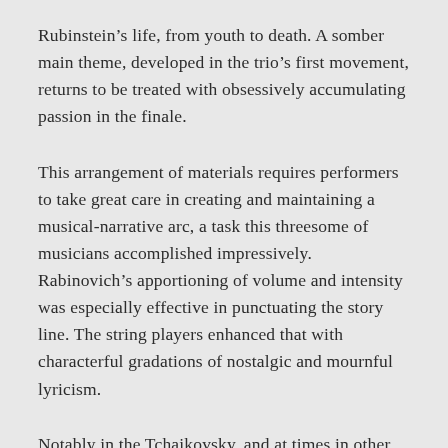Rubinstein's life, from youth to death. A somber main theme, developed in the trio's first movement, returns to be treated with obsessively accumulating passion in the finale.
This arrangement of materials requires performers to take great care in creating and maintaining a musical-narrative arc, a task this threesome of musicians accomplished impressively. Rabinovich's apportioning of volume and intensity was especially effective in punctuating the story line. The string players enhanced that with characterful gradations of nostalgic and mournful lyricism.
Notably in the Tchaikovsky, and at times in other selections, the musicians found themselves coping